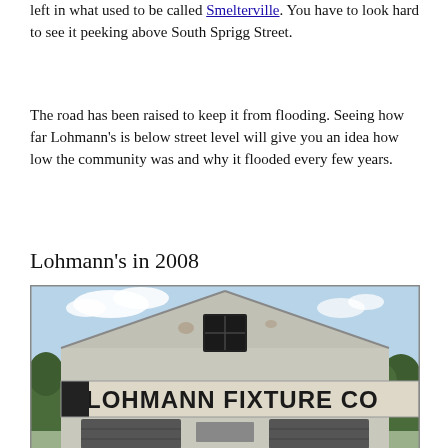left in what used to be called Smelterville. You have to look hard to see it peeking above South Sprigg Street.
The road has been raised to keep it from flooding. Seeing how far Lohmann's is below street level will give you an idea how low the community was and why it flooded every few years.
Lohmann's in 2008
[Figure (photo): Photograph of an old weathered building with a triangular gable roof. The façade reads 'LOHMANN FIXTURE CO' in large block letters. The building has two garage-style doors at the bottom and a broken window in the gable. Trees are visible in the background under a partly cloudy sky.]